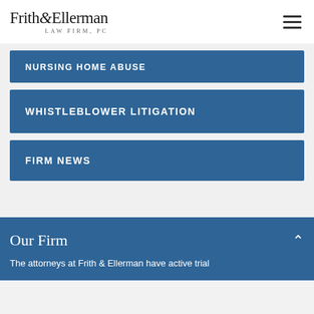[Figure (logo): Frith & Ellerman Law Firm, PC logo in serif font]
NURSING HOME ABUSE
WHISTLEBLOWER LITIGATION
FIRM NEWS
Our Firm
The attorneys at Frith & Ellerman have active trial